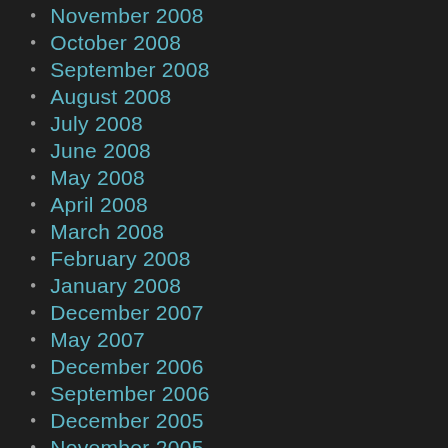November 2008
October 2008
September 2008
August 2008
July 2008
June 2008
May 2008
April 2008
March 2008
February 2008
January 2008
December 2007
May 2007
December 2006
September 2006
December 2005
November 2005